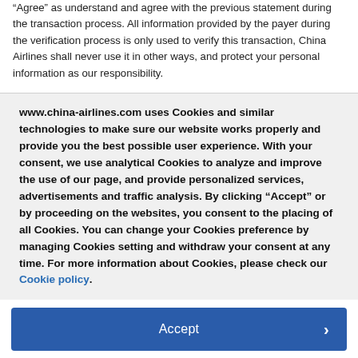"Agree" as understand and agree with the previous statement during the transaction process. All information provided by the payer during the verification process is only used to verify this transaction, China Airlines shall never use it in other ways, and protect your personal information as our responsibility.
www.china-airlines.com uses Cookies and similar technologies to make sure our website works properly and provide you the best possible user experience. With your consent, we use analytical Cookies to analyze and improve the use of our page, and provide personalized services, advertisements and traffic analysis. By clicking "Accept" or by proceeding on the websites, you consent to the placing of all Cookies. You can change your Cookies preference by managing Cookies setting and withdraw your consent at any time. For more information about Cookies, please check our Cookie policy.
Accept